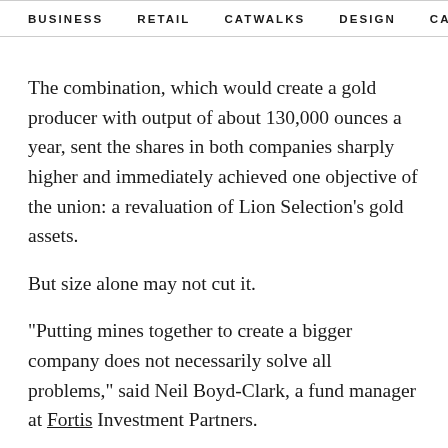BUSINESS   RETAIL   CATWALKS   DESIGN   CAMI  >
The combination, which would create a gold producer with output of about 130,000 ounces a year, sent the shares in both companies sharply higher and immediately achieved one objective of the union: a revaluation of Lion Selection's gold assets.
But size alone may not cut it.
"Putting mines together to create a bigger company does not necessarily solve all problems," said Neil Boyd-Clark, a fund manager at Fortis Investment Partners.
"What you want to do is put assets together that can do a better job than they could separately," said Boyd-Clark,